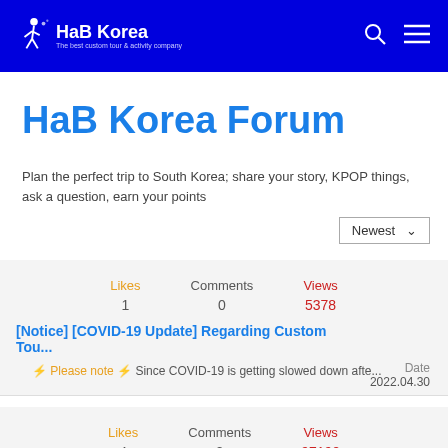HaB Korea — The best custom tour & activity company
HaB Korea Forum
Plan the perfect trip to South Korea; share your story, KPOP things, ask a question, earn your points
| Likes | Comments | Views |
| --- | --- | --- |
| 1 | 0 | 5378 |
[Notice] [COVID-19 Update] Regarding Custom Tou...
⚡ Please note ⚡ Since COVID-19 is getting slowed down afte...
Date 2022.04.30
| Likes | Comments | Views |
| --- | --- | --- |
| 4 | 0 | 97190 |